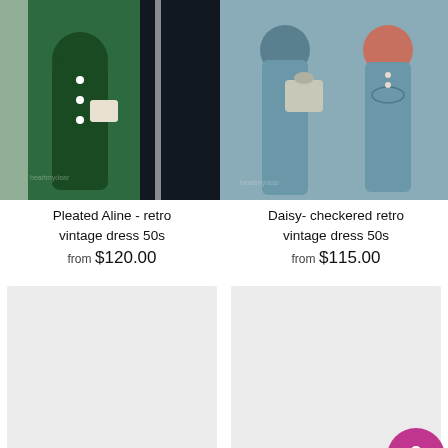[Figure (photo): Green pleated A-line vintage dress product photo, two views]
Pleated Aline - retro vintage dress 50s
from $120.00
[Figure (photo): Blue/teal checkered retro vintage dress product photo, two views]
Daisy- checkered retro vintage dress 50s
from $115.00
[Figure (photo): Gray placeholder image for product]
[Figure (illustration): Chat with us button - magenta rounded button]
[Figure (photo): Gray placeholder image for NORAH cape and dress product]
NORAH cape and dress - vintage 1950s inspired